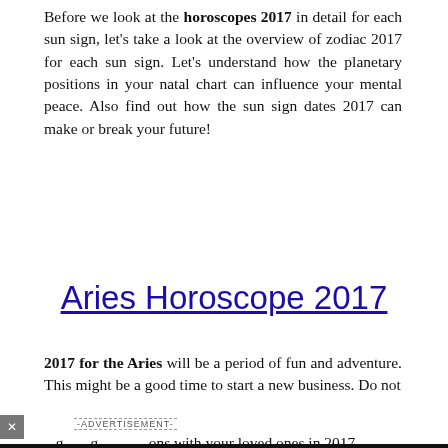Before we look at the horoscopes 2017 in detail for each sun sign, let's take a look at the overview of zodiac 2017 for each sun sign. Let's understand how the planetary positions in your natal chart can influence your mental peace. Also find out how the sun sign dates 2017 can make or break your future!
Aries Horoscope 2017
2017 for the Aries will be a period of fun and adventure. This might be a good time to start a new business. Do not ...g...g... ...........ons with your loved ones in 2017. Health can be excellent if you are regular in your exercise
[Figure (screenshot): Black video player bar showing a circle/play button on left and text 'How To Open 7 Chakras - Meditation and Healing - SunSigns.Org' on right]
| Zodiac Astrology |
| --- |
|  |